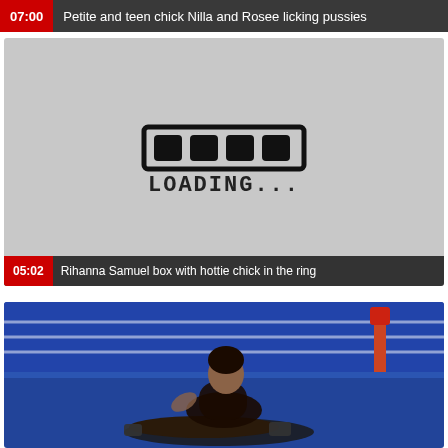[Figure (screenshot): Video thumbnail overlay bar showing duration 07:00 and title text for first video]
07:00  Petite and teen chick Nilla and Rosee licking pussies
[Figure (screenshot): Video thumbnail showing loading placeholder with loading bar icon and LOADING... text]
05:02  Rihanna Samuel box with hottie chick in the ring
[Figure (photo): Two women wrestling/boxing in a ring with blue mat and ropes visible in background]